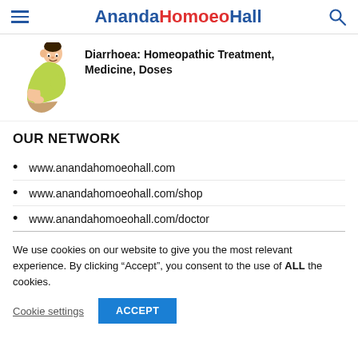AnandaHomoeoHall
[Figure (illustration): Cartoon illustration of a person hunched over holding their stomach, wearing a yellow-green shirt]
Diarrhoea: Homeopathic Treatment, Medicine, Doses
OUR NETWORK
www.anandahomoeohall.com
www.anandahomoeohall.com/shop
www.anandahomoeohall.com/doctor
We use cookies on our website to give you the most relevant experience. By clicking “Accept”, you consent to the use of ALL the cookies.
Cookie settings  ACCEPT